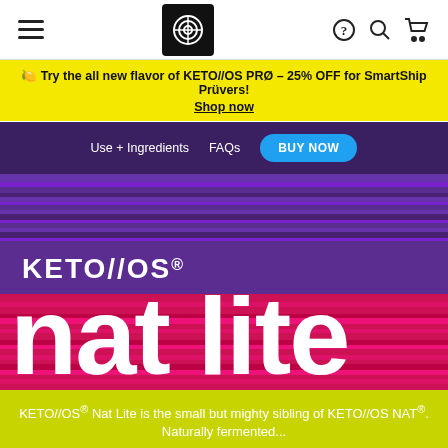Navigation bar with hamburger menu, Prüvit logo, help icon, search icon, cart icon
🍋 Try the all new flavor of KETO//OS PRØ – 25% OFF for SmartShip Prüvers! Shop now
Use + Ingredients | FAQs | BUY NOW
[Figure (illustration): KETO//OS® nat lite product branding on colorful horizontal striped background with purple, red/pink, and other colors]
KETO//OS® Nat Lite is the small but mighty sibling of KETO//OS NAT®. Naturally fermented...